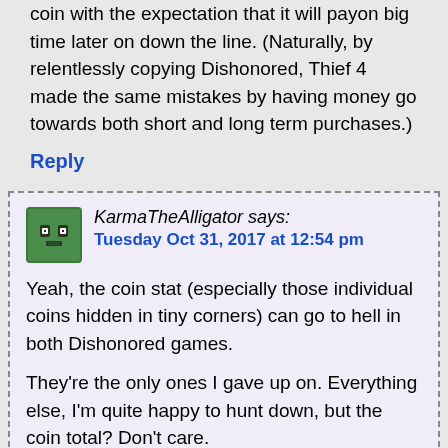coin with the expectation that it will payon big time later on down the line. (Naturally, by relentlessly copying Dishonored, Thief 4 made the same mistakes by having money go towards both short and long term purchases.)
Reply
KarmaTheAlligator says: Tuesday Oct 31, 2017 at 12:54 pm
Yeah, the coin stat (especially those individual coins hidden in tiny corners) can go to hell in both Dishonored games.
They're the only ones I gave up on. Everything else, I'm quite happy to hunt down, but the coin total? Don't care.
Reply
PhoenixUltima says: